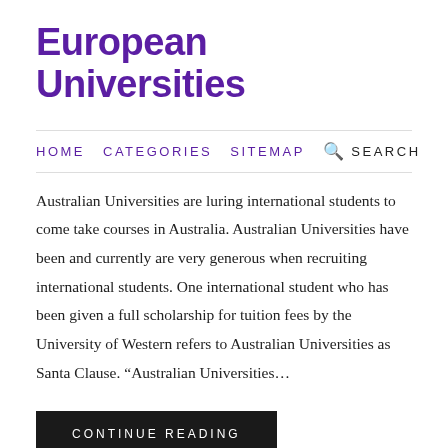European Universities
HOME   CATEGORIES   SITEMAP   SEARCH
Australian Universities are luring international students to come take courses in Australia. Australian Universities have been and currently are very generous when recruiting international students. One international student who has been given a full scholarship for tuition fees by the University of Western refers to Australian Universities as Santa Clause. “Australian Universities…
CONTINUE READING